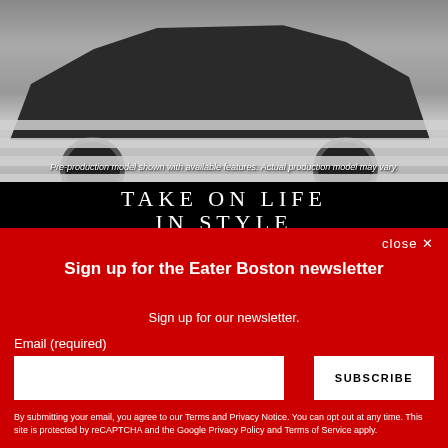[Figure (photo): Car (dark SUV) on a road with zebra crossing, black and white photo]
Pre-production model shown with available features. Actual production model may vary.
TAKE ON LIFE IN STYLE
close ✕
Sign up for the Eater Boston newsletter
Sign up for our newsletter.
Email (required)
SUBSCRIBE
By submitting your email, you agree to our Terms and Privacy Notice. You can opt out at any time. This site is protected by reCAPTCHA and the Google Privacy Policy and Terms of Service apply.